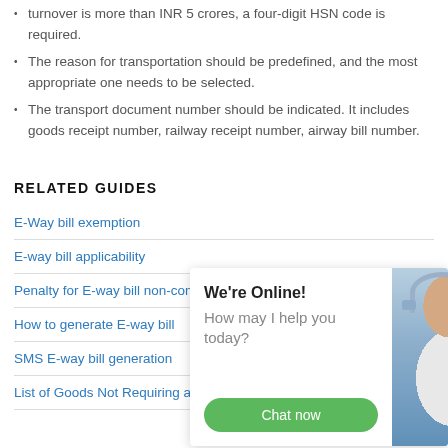turnover is more than INR 5 crores, a four-digit HSN code is required.
The reason for transportation should be predefined, and the most appropriate one needs to be selected.
The transport document number should be indicated. It includes goods receipt number, railway receipt number, airway bill number.
RELATED GUIDES
E-Way bill exemption
E-way bill applicability
Penalty for E-way bill non-compliance
How to generate E-way bill
SMS E-way bill generation
List of Goods Not Requiring an Eway Bill
[Figure (infographic): Chat support widget overlay showing 'We're Online! How may I help you today?' with a green 'Chat now' button and a photo of a customer support agent wearing a headset.]